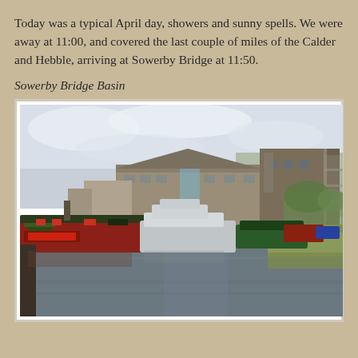Today was a typical April day, showers and sunny spells. We were away at 11:00, and covered the last couple of miles of the Calder and Hebble, arriving at Sowerby Bridge at 11:50.
Sowerby Bridge Basin
[Figure (photo): A canal basin at Sowerby Bridge showing narrowboats and a motor cruiser moored on the left bank, a calm water channel leading into the distance, stone mill buildings on the left, a large industrial building with scaffolding on the upper right, bare trees and green bankside vegetation on the right, and a cloudy sky with some brightness.]